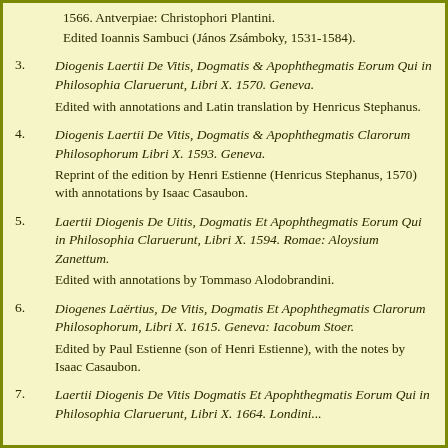1566. Antverpiae: Christophori Plantini.
Edited Ioannis Sambuci (János Zsámboky, 1531-1584).
3. Diogenis Laertii De Vitis, Dogmatis & Apophthegmatis Eorum Qui in Philosophia Claruerunt, Libri X. 1570. Geneva.
Edited with annotations and Latin translation by Henricus Stephanus.
4. Diogenis Laertii De Vitis, Dogmatis & Apophthegmatis Clarorum Philosophorum Libri X. 1593. Geneva.
Reprint of the edition by Henri Estienne (Henricus Stephanus, 1570) with annotations by Isaac Casaubon.
5. Laertii Diogenis De Uitis, Dogmatis Et Apophthegmatis Eorum Qui in Philosophia Claruerunt, Libri X. 1594. Romae: Aloysium Zanettum.
Edited with annotations by Tommaso Alodobrandini.
6. Diogenes Laërtius, De Vitis, Dogmatis Et Apophthegmatis Clarorum Philosophorum, Libri X. 1615. Geneva: Iacobum Stoer.
Edited by Paul Estienne (son of Henri Estienne), with the notes by Isaac Casaubon.
7. Laertii Diogenis De Vitis Dogmatis Et Apophthegmatis Eorum Qui in Philosophia Claruerunt, Libri X. 1664. Londini...